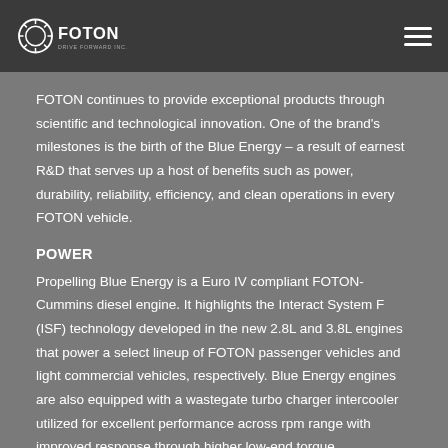FOTON
FOTON continues to provide exceptional products through scientific and technological innovation. One of the brand's milestones is the birth of the Blue Energy – a result of earnest R&D that serves up a host of benefits such as power, durability, reliability, efficiency, and clean operations in every FOTON vehicle.
POWER
Propelling Blue Energy is a Euro IV compliant FOTON-Cummins diesel engine. It highlights the Interact System F (ISF) technology developed in the new 2.8L and 3.8L engines that power a select lineup of FOTON passenger vehicles and light commercial vehicles, respectively. Blue Energy engines are also equipped with a wastegate turbo charger intercooler utilized for excellent performance across rpm range with improved response through higher low-end torque.